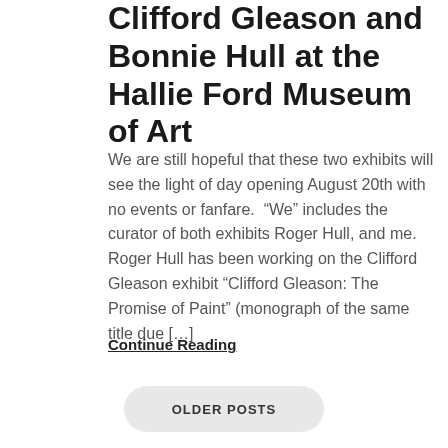Clifford Gleason and Bonnie Hull at the Hallie Ford Museum of Art
We are still hopeful that these two exhibits will see the light of day opening August 20th with no events or fanfare.  “We” includes the curator of both exhibits Roger Hull, and me.  Roger Hull has been working on the Clifford Gleason exhibit “Clifford Gleason: The Promise of Paint” (monograph of the same title due […]
Continue Reading
OLDER POSTS